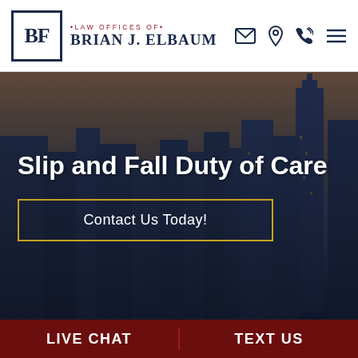[Figure (logo): Law Offices of Brian J. Elbaum logo with BF monogram in navy box, law firm name, and navigation icons (email, location, phone, menu)]
[Figure (photo): Aerial cityscape photo of New York City skyline at dusk/sunset with dark overlay, used as hero background]
Slip and Fall Duty of Care
Contact Us Today!
If you are injured after slipping on a wet
LIVE CHAT
TEXT US